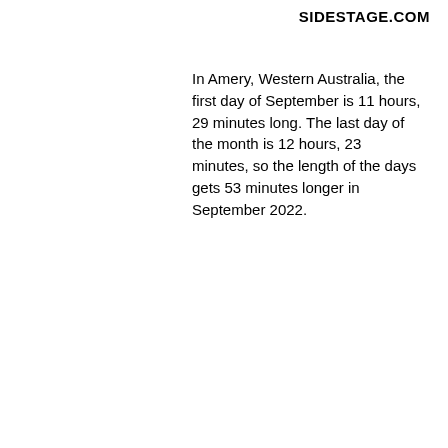SIDESTAGE.COM
In Amery, Western Australia, the first day of September is 11 hours, 29 minutes long. The last day of the month is 12 hours, 23 minutes, so the length of the days gets 53 minutes longer in September 2022.